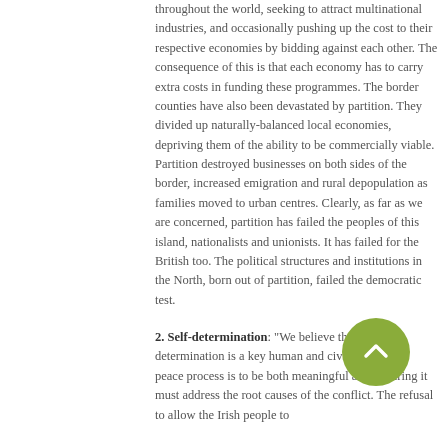throughout the world, seeking to attract multinational industries, and occasionally pushing up the cost to their respective economies by bidding against each other. The consequence of this is that each economy has to carry extra costs in funding these programmes. The border counties have also been devastated by partition. They divided up naturally-balanced local economies, depriving them of the ability to be commercially viable. Partition destroyed businesses on both sides of the border, increased emigration and rural depopulation as families moved to urban centres. Clearly, as far as we are concerned, partition has failed the peoples of this island, nationalists and unionists. It has failed for the British too. The political structures and institutions in the North, born out of partition, failed the democratic test.
2. Self-determination: "We believe that self-determination is a key human and civil right. If the peace process is to be both meaningful and enduring it must address the root causes of the conflict. The refusal to allow the Irish people to
[Figure (other): A circular green scroll-to-top button with an upward-pointing chevron arrow, overlaid on the text content.]